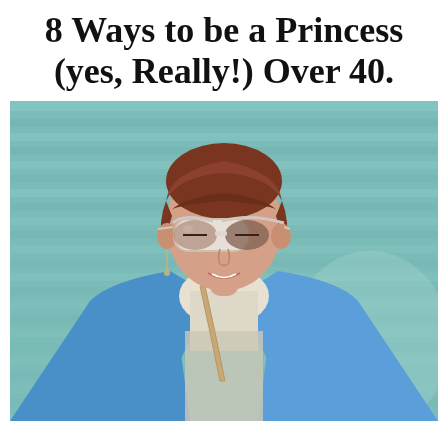8 Ways to be a Princess (yes, Really!) Over 40.
[Figure (photo): A woman with short auburn hair, wearing large white cat-eye sunglasses, a blue satin blazer over a white turtleneck sparkle top, with a tan crossbody bag strap. She is smiling, photographed against a teal/mint green horizontally slatted background.]